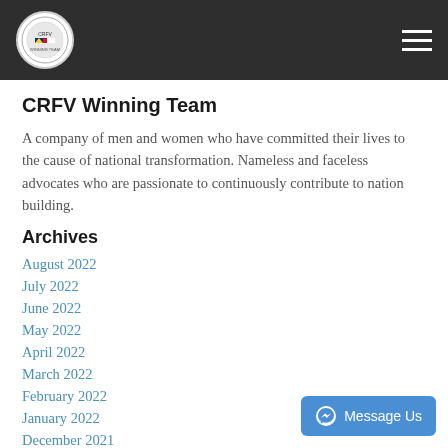CRFV Logo and navigation menu
CRFV Winning Team
A company of men and women who have committed their lives to the cause of national transformation. Nameless and faceless advocates who are passionate to continuously contribute to nation building.
Archives
August 2022
July 2022
June 2022
May 2022
April 2022
March 2022
February 2022
January 2022
December 2021
November 2021